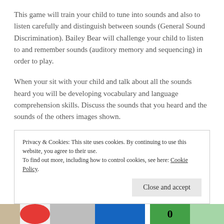This game will train your child to tune into sounds and also to listen carefully and distinguish between sounds (General Sound Discrimination).  Bailey Bear will  challenge your child to  listen to and remember sounds (auditory memory and sequencing) in order to play.
When your sit with your child and talk about all the sounds heard you will be developing vocabulary and language comprehension skills. Discuss the sounds that you heard and the sounds of the others images shown.
Privacy & Cookies: This site uses cookies. By continuing to use this website, you agree to their use.
To find out more, including how to control cookies, see here: Cookie Policy
[Figure (screenshot): Bottom strip showing partial images of educational game thumbnails with red, blue, green and other colored elements]